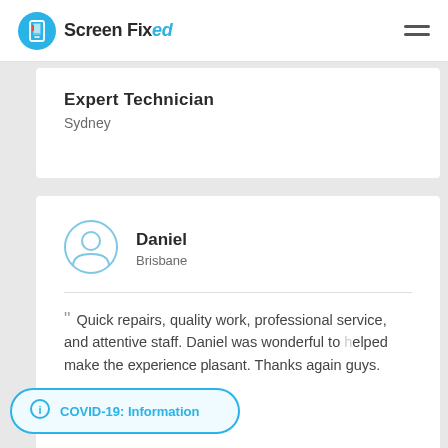Screen Fixed
Expert Technician
Sydney
Daniel
Brisbane
" Quick repairs, quality work, professional service, and attentive staff. Daniel was wonderful to [helped make the experience pl]asant. Thanks again guys.
COVID-19: Information